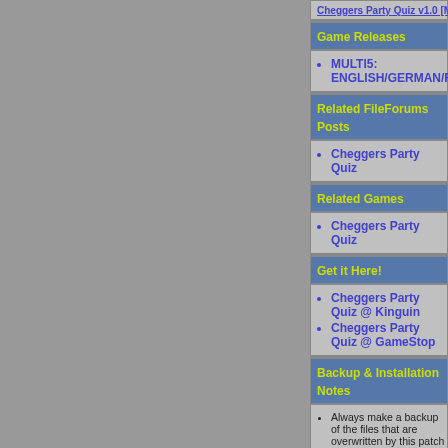Cheggers Party Quiz v1.0 [MULTI5] No-CD/Fixed...
Game Releases
MULTI5: ENGLISH/GERMAN/FRENCH/SPAN...
Related FileForums Posts
Cheggers Party Quiz
Related Games
Cheggers Party Quiz
Get it Here!
Cheggers Party Quiz @ Kinguin
Cheggers Party Quiz @ GameStop
Backup & Installation Notes
Always make a backup of the files that are overwritten by this patch to avoid problems. You may need this to update the game to a newer version or to play Online!
Some No-CD/Fixed EXE files work fine in Single Player mode but are detected to be modified when trying to play online. When this happens use the original EXE to play online.
When using Fixed Files make sure to use a Firewall which controls outgoing traffic, as some games call back and report the use of these modified files!
Some original games do not always contain...